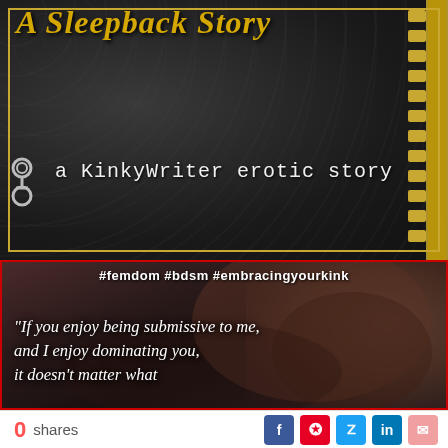[Figure (photo): Book cover image with dark leather texture background and gold zipper on right side. Title text partially visible at top reading 'A Sleepback Story'. Subtitle reads 'a KinkyWriter erotic story' with handcuff icon. Red-bordered panel below with blurred intimate photo. Hashtags: #femdom #bdsm #embracingyourkink. Quote text: 'If you enjoy being submissive to me, and I enjoy dominating you, it doesn't matter what']
#femdom #bdsm #embracingyourkink
“If you enjoy being submissive to me, and I enjoy dominating you, it doesn’t matter what
0 shares